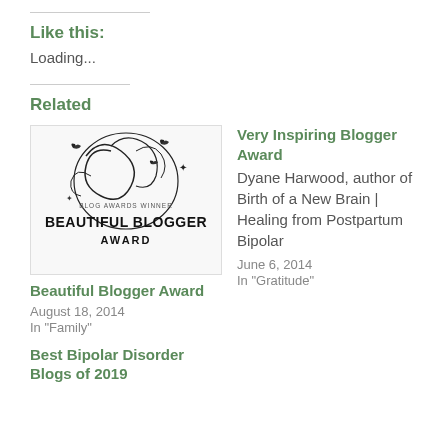Like this:
Loading...
Related
[Figure (photo): Beautiful Blogger Award image with decorative floral and butterfly design, text reads BLOG AWARDS WINNER BEAUTIFUL BLOGGER AWARD]
Beautiful Blogger Award
August 18, 2014
In "Family"
Very Inspiring Blogger Award
Dyane Harwood, author of Birth of a New Brain | Healing from Postpartum Bipolar
June 6, 2014
In "Gratitude"
Best Bipolar Disorder Blogs of 2019